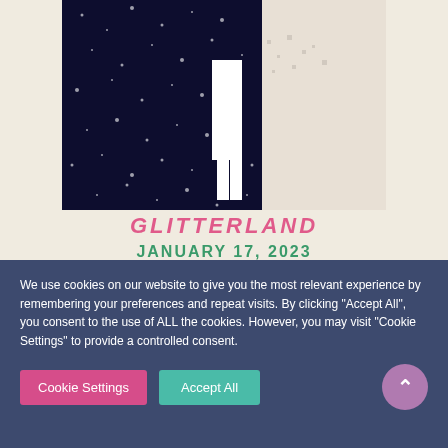[Figure (illustration): Book cover for Glitterland showing a figure in white pants and dark sparkly background with legs visible]
GLITTERLAND
JANUARY 17, 2023
[Figure (illustration): Book cover showing ALEXIS HALL in large teal italic letters on white background]
We use cookies on our website to give you the most relevant experience by remembering your preferences and repeat visits. By clicking “Accept All”, you consent to the use of ALL the cookies. However, you may visit "Cookie Settings" to provide a controlled consent.
Cookie Settings | Accept All